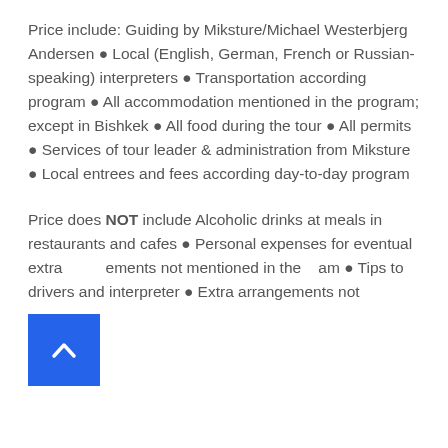Price include: Guiding by Miksture/Michael Westerbjerg Andersen • Local (English, German, French or Russian-speaking) interpreters • Transportation according program • All accommodation mentioned in the program; except in Bishkek • All food during the tour • All permits • Services of tour leader & administration from Miksture • Local entrees and fees according day-to-day program
Price does NOT include Alcoholic drinks at meals in restaurants and cafes • Personal expenses for eventual extra elements not mentioned in the program • Tips to drivers and interpreter • Extra arrangements not